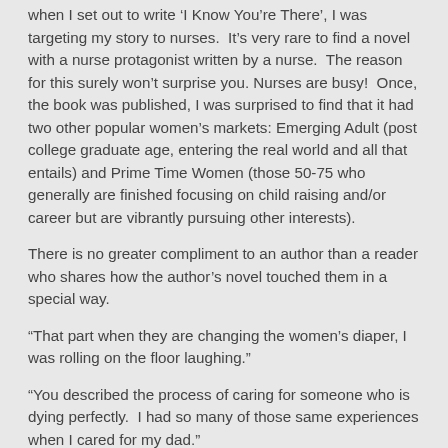When I set out to write 'I Know You're There', I was targeting my story to nurses. It's very rare to find a novel with a nurse protagonist written by a nurse. The reason for this surely won't surprise you. Nurses are busy! Once, the book was published, I was surprised to find that it had two other popular women's markets: Emerging Adult (post college graduate age, entering the real world and all that entails) and Prime Time Women (those 50-75 who generally are finished focusing on child raising and/or career but are vibrantly pursuing other interests).
There is no greater compliment to an author than a reader who shares how the author's novel touched them in a special way.
“That part when they are changing the women’s diaper, I was rolling on the floor laughing.”
“You described the process of caring for someone who is dying perfectly. I had so many of those same experiences when I cared for my dad.”